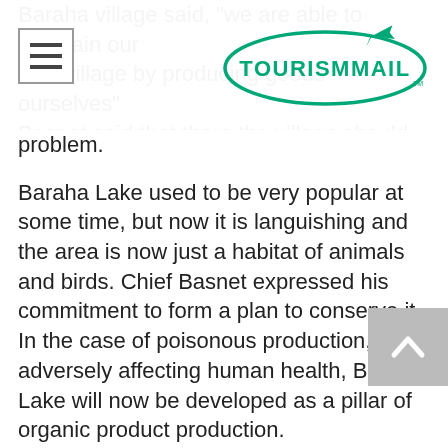[Figure (logo): TourismMail logo with airplane graphic and teal/green text on white background]
own village by producing goods ourselves" Basnet said that there the village should should try to resolve this problem.
Baraha Lake used to be very popular at some time, but now it is languishing and the area is now just a habitat of animals and birds. Chief Basnet expressed his commitment to form a plan to conserve it. In the case of poisonous production, adversely affecting human health, Baraha Lake will now be developed as a pillar of organic product production.
It is believed that festival will create employment by the help of home stay, promote local production, art and culture, and help in the commercialization of local goods. Miscellaneous programs will be done during the festival including Rafting, Boating, Dance, Song...